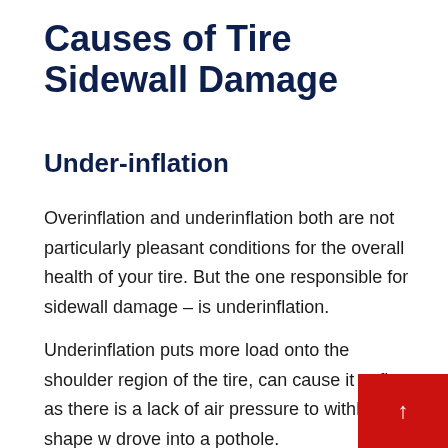Causes of Tire Sidewall Damage
Under-inflation
Overinflation and underinflation both are not particularly pleasant conditions for the overall health of your tire. But the one responsible for sidewall damage – is underinflation.
Underinflation puts more load onto the shoulder region of the tire, can cause it to flex as there is a lack of air pressure to withhold its shape w drove into a pothole.